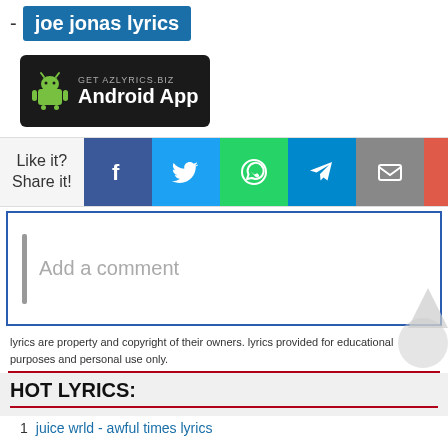- joe jonas lyrics
[Figure (screenshot): Android app banner for GET AZLYRICS.BIZ Android App with green Android robot icon on black background]
[Figure (infographic): Social share bar with Like it? Share it! label and buttons for Facebook, Twitter, WhatsApp, Telegram, Email, and a plus button]
Add a comment
lyrics are property and copyright of their owners. lyrics provided for educational purposes and personal use only.
HOT LYRICS:
1  juice wrld - awful times lyrics